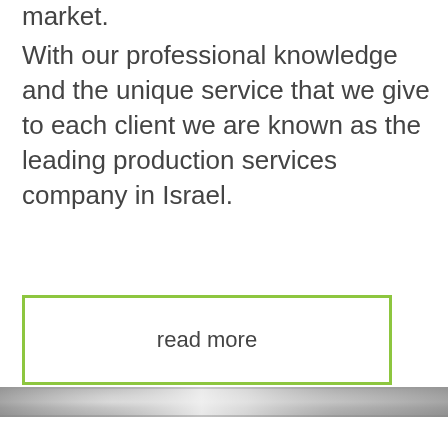market.
With our professional knowledge and the unique service that we give to each client we are known as the leading production services company in Israel.
read more
[Figure (photo): A narrow horizontal photograph showing a metallic/silver reflective surface, partially obscured by the read more button area.]